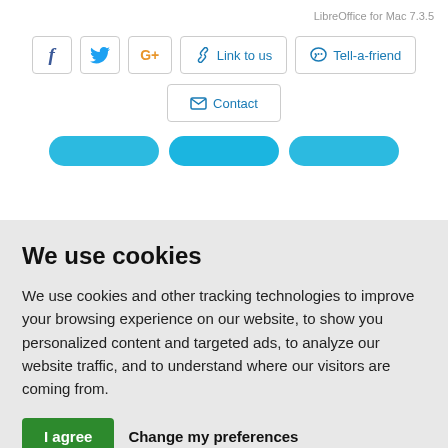LibreOffice for Mac 7.3.5
[Figure (screenshot): Social sharing buttons: Facebook (f icon), Twitter (bird icon), Google+ (G+ icon), Link to us (chain link icon), Tell-a-friend (speech bubble icon), Contact (envelope icon), and three blue rounded navigation buttons partially visible]
We use cookies
We use cookies and other tracking technologies to improve your browsing experience on our website, to show you personalized content and targeted ads, to analyze our website traffic, and to understand where our visitors are coming from.
I agree | Change my preferences